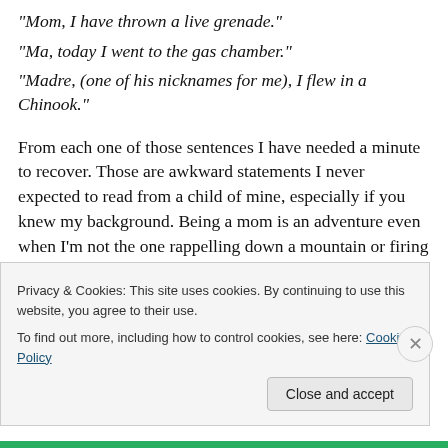“Mom, I have thrown a live grenade.”
“Ma, today I went to the gas chamber.”
“Madre, (one of his nicknames for me), I flew in a Chinook.”
From each one of those sentences I have needed a minute to recover. Those are awkward statements I never expected to read from a child of mine, especially if you knew my background. Being a mom is an adventure even when I’m not the one rappelling down a mountain or firing a rifle. And in the case of my other two OS, motherhood is
Privacy & Cookies: This site uses cookies. By continuing to use this website, you agree to their use.
To find out more, including how to control cookies, see here: Cookie Policy